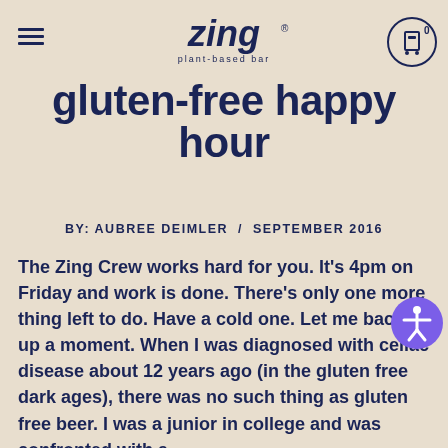[Figure (logo): Zing bar logo with text 'zing plant-based bar' overlaid on navigation header area with hamburger menu and cart icon]
gluten-free happy hour
BY: AUBREE DEIMLER / SEPTEMBER 2016
The Zing Crew works hard for you. It's 4pm on Friday and work is done. There's only one more thing left to do. Have a cold one. Let me back up a moment. When I was diagnosed with celiac disease about 12 years ago (in the gluten free dark ages), there was no such thing as gluten free beer. I was a junior in college and was confronted with a